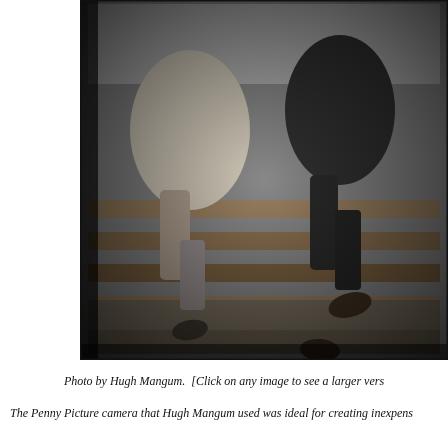[Figure (photo): Black and white photograph by Hugh Mangum showing people (partially cropped, only lower bodies visible) sitting on wooden steps or bleachers outdoors. Two individuals are visible, one in a light coat and one in a dark suit jacket. Their feet dangle over the edge of wooden planks.]
Photo by Hugh Mangum.  [Click on any image to see a larger vers
The Penny Picture camera that Hugh Mangum used was ideal for creating inexpens